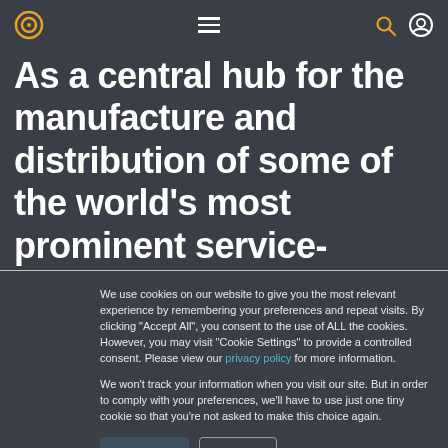Navigation bar with logo, hamburger menu, search and user icons
As a central hub for the manufacture and distribution of some of the world’s most prominent service-industries, Ireland has in recent years
We use cookies on our website to give you the most relevant experience by remembering your preferences and repeat visits. By clicking “Accept All”, you consent to the use of ALL the cookies. However, you may visit “Cookie Settings” to provide a controlled consent. Please view our privacy policy for more information.

We won’t track your information when you visit our site. But in order to comply with your preferences, we’ll have to use just one tiny cookie so that you’re not asked to make this choice again.